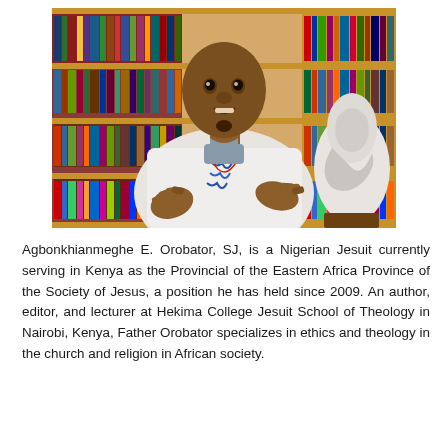[Figure (photo): A man in a white African traditional shirt gesturing with his hands, seated in front of a bookshelf filled with books, with a white marble sculpture (Pieta) visible on the right.]
Agbonkhianmeghe E. Orobator, SJ, is a Nigerian Jesuit currently serving in Kenya as the Provincial of the Eastern Africa Province of the Society of Jesus, a position he has held since 2009. An author, editor, and lecturer at Hekima College Jesuit School of Theology in Nairobi, Kenya, Father Orobator specializes in ethics and theology in the church and religion in African society.